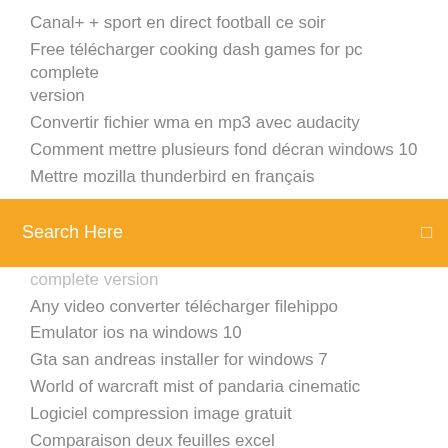Canal+ + sport en direct football ce soir
Free télécharger cooking dash games for pc complete version
Convertir fichier wma en mp3 avec audacity
Comment mettre plusieurs fond décran windows 10
Mettre mozilla thunderbird en français
[Figure (screenshot): Orange/yellow search bar with text 'Search Here' and a search icon on the right]
complete version
Any video converter télécharger filehippo
Emulator ios na windows 10
Gta san andreas installer for windows 7
World of warcraft mist of pandaria cinematic
Logiciel compression image gratuit
Comparaison deux feuilles excel
Telecharger black and white 2 complet francais
Ecouter musique youtube en arriere plan android
Visionneuse de photos windows 7 plein ecran
Pratis live logiciel gratuit de gestion de cabinet médical